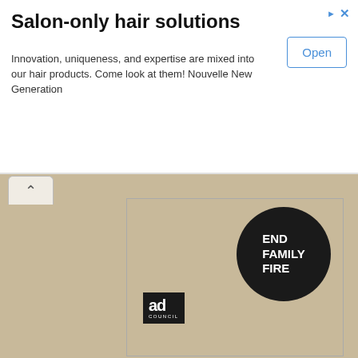[Figure (screenshot): Advertisement banner for Salon-only hair solutions by Nouvelle New Generation with an Open button]
Salon-only hair solutions
Innovation, uniqueness, and expertise are mixed into our hair products. Come look at them! Nouvelle New Generation
[Figure (screenshot): Ad Council logo and End Family Fire circle logo on tan background]
Latest hauntings:
The Unseen Made Us Transfer To A New Home
Experiences In Okinawa
Nephew's Farewell
Not Alone-tragic Loss Warning
Shadowy Hero Or A Mischievous Death Reaper
I Think It Followed Me Home
Shadow Man In The Fedora
They're Just Guiding Us
The Old Packing Shed
A Scare In The Empty Flat
Returning To This Site After Almost 2 Years Of Absence
New Store? It's Haunted